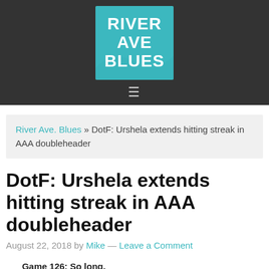RIVER AVE BLUES
River Ave. Blues » DotF: Urshela extends hitting streak in AAA doubleheader
DotF: Urshela extends hitting streak in AAA doubleheader
August 22, 2018 by Mike — Leave a Comment
Game 126: So long, interleague play